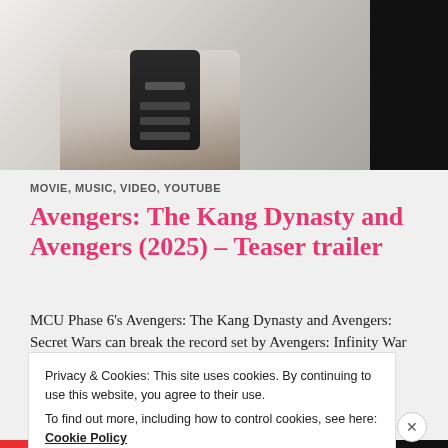[Figure (photo): Person holding a TV remote control, with books/items in background. Right portion of image is blacked out.]
MOVIE, MUSIC, VIDEO, YOUTUBE
Avengers: The Kang Dynasty and Avengers (2025) – Teaser trailer
MCU Phase 6’s Avengers: The Kang Dynasty and Avengers: Secret Wars can break the record set by Avengers: Infinity War and Avengers: Endgame. Each ensemble movie released by Marvel Studios grew bigger
Privacy & Cookies: This site uses cookies. By continuing to use this website, you agree to their use.
To find out more, including how to control cookies, see here: Cookie Policy
Close and accept